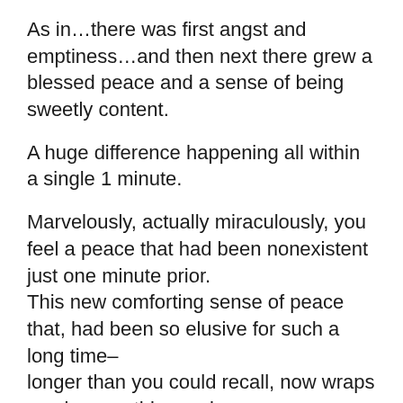As in…there was first angst and emptiness…and then next there grew a blessed peace and a sense of being sweetly content.
A huge difference happening all within a single 1 minute.
Marvelously, actually miraculously, you feel a peace that had been nonexistent just one minute prior. This new comforting sense of peace that, had been so elusive for such a long time– longer than you could recall, now wraps you in a soothing embrace.
And so now you actually find yourself finally being able to exhale.
Being able to exhale the heaviness of fear…